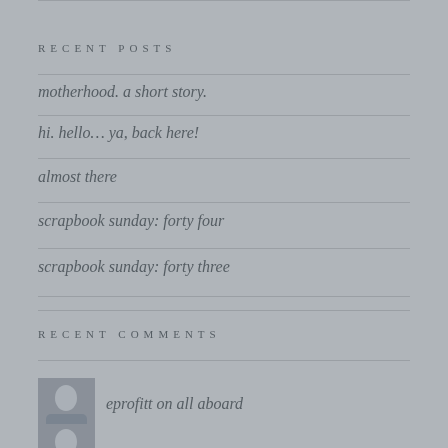RECENT POSTS
motherhood. a short story.
hi. hello… ya, back here!
almost there
scrapbook sunday: forty four
scrapbook sunday: forty three
RECENT COMMENTS
eprofitt on all aboard